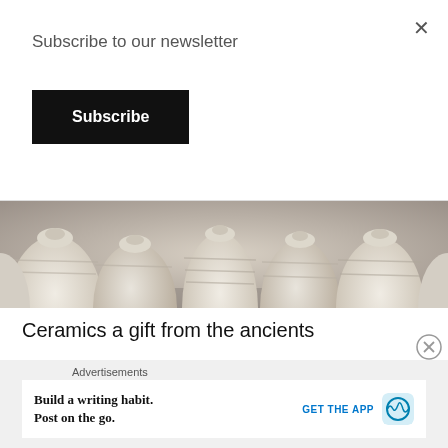Subscribe to our newsletter
Subscribe
[Figure (photo): Row of white/cream unglazed ceramic pottery jugs and vases viewed from above, tightly packed together.]
Ceramics a gift from the ancients
Ceramics are objects made of moistened clay, shaped and then baked. All ceramics are Earthenware, terracotta, brick, tile, faience, majolica, stoneware, and porcelain. Ceramicware is decorated with clay inlays, relief patterns on the surface, or incised, stamped or embossed designs.
Advertisements
Build a writing habit.
Post on the go.
GET THE APP